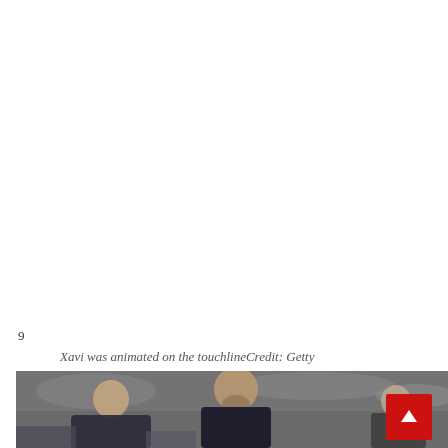9
Xavi was animated on the touchlineCredit: Getty
[Figure (photo): Photo of people on a sports touchline/sideline, showing figures in dark clothing, one man prominent in center with beard, others around him, blurred crowd background — sports/football scene]